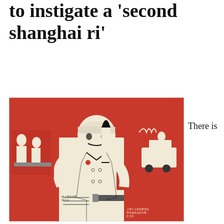to instigate a 'second shanghai ri'
[Figure (illustration): Chinese Cultural Revolution propaganda poster woodblock print showing a soldier/Red Guard in uniform holding a large paintbrush, wearing a red armband with Chinese characters. Background shows scenes of revolutionary activity in red and white woodcut style.]
There is